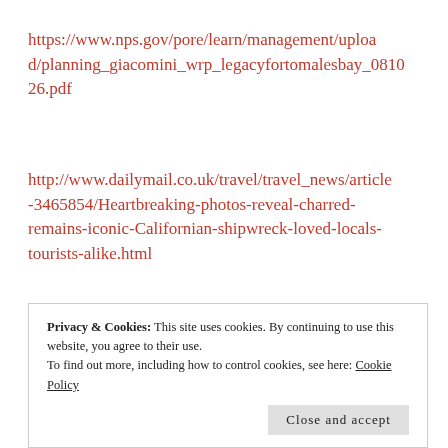https://www.nps.gov/pore/learn/management/upload/planning_giacomini_wrp_legacyfortomalesbay_081026.pdf
http://www.dailymail.co.uk/travel/travel_news/article-3465854/Heartbreaking-photos-reveal-charred-remains-iconic-Californian-shipwreck-loved-locals-tourists-alike.html
Saltwater Oyster Depot:
Privacy & Cookies: This site uses cookies. By continuing to use this website, you agree to their use.
To find out more, including how to control cookies, see here: Cookie Policy